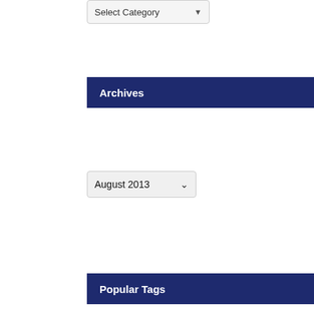[Figure (screenshot): Select Category dropdown box]
Archives
[Figure (screenshot): August 2013 dropdown box]
Popular Tags
Medicaid drug abuse health reform obesity tobacco smoking ban children's health General Assembly research rural health insurance exchange legislature politics nutrition obamacare smoking health insurance Patient